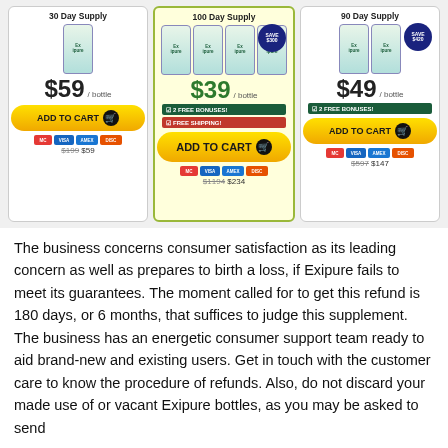[Figure (infographic): Three Exipure product purchase options: 30 Day Supply at $59/bottle, 100 Day Supply at $39/bottle (featured, with Save $300 badge, 2 Free Bonuses, Free Shipping), and 90 Day Supply at $49/bottle (Save $420 badge, 2 Free Bonuses). Each card shows product bottles, pricing, Add to Cart button, credit card icons, and crossed-out original prices.]
The business concerns consumer satisfaction as its leading concern as well as prepares to birth a loss, if Exipure fails to meet its guarantees. The moment called for to get this refund is 180 days, or 6 months, that suffices to judge this supplement. The business has an energetic consumer support team ready to aid brand-new and existing users. Get in touch with the customer care to know the procedure of refunds. Also, do not discard your made use of or vacant Exipure bottles, as you may be asked to send